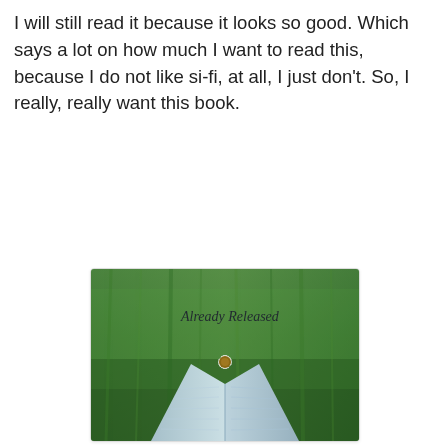I will still read it because it looks so good. Which says a lot on how much I want to read this, because I do not like si-fi, at all, I just don't. So, I really, really want this book.
[Figure (photo): A photo of an open book lying on grass with a white daisy flower placed in the middle of the open pages, with the text 'Already Released' overlaid in italic font on the upper portion of the image.]